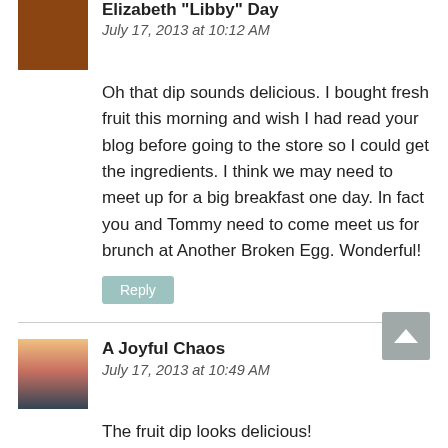Elizabeth "Libby" Day
July 17, 2013 at 10:12 AM
Oh that dip sounds delicious. I bought fresh fruit this morning and wish I had read your blog before going to the store so I could get the ingredients. I think we may need to meet up for a big breakfast one day. In fact you and Tommy need to come meet us for brunch at Another Broken Egg. Wonderful!
Reply
A Joyful Chaos
July 17, 2013 at 10:49 AM
The fruit dip looks delicious!
Reply
Debby@Just Breathe
July 17, 2013 at 11:51 AM